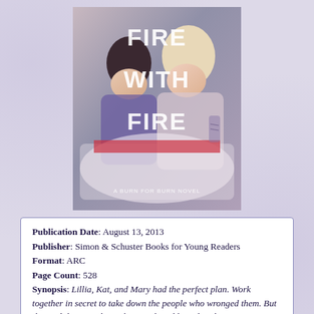[Figure (illustration): Book cover of 'Fire with Fire: A Burn for Burn Novel' showing two teenage girls]
Publication Date: August 13, 2013
Publisher: Simon & Schuster Books for Young Readers
Format: ARC
Page Count: 528
Synopsis: Lillia, Kat, and Mary had the perfect plan. Work together in secret to take down the people who wronged them. But things didn't exactly go the way they'd hoped at the Homecoming Dance.